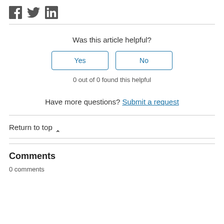[Figure (other): Social media share icons: Facebook, Twitter, LinkedIn]
Was this article helpful?
Yes | No (buttons)
0 out of 0 found this helpful
Have more questions? Submit a request
Return to top ^
Comments
0 comments